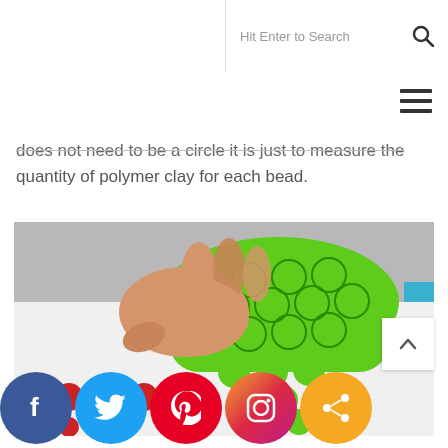Hit Enter to Search
does not need to be a circle it is just to measure the quantity of polymer clay for each bead.
[Figure (photo): A hand holding a flat piece of bright green polymer clay with circular impressions stamped into it. Several small green clay discs that have been punched out are scattered below and beside the clay slab on a white surface. A blue object is partially visible at the right edge. Polka-dot fabric with red dots is visible at the bottom left.]
Facebook Twitter Pinterest Instagram Share